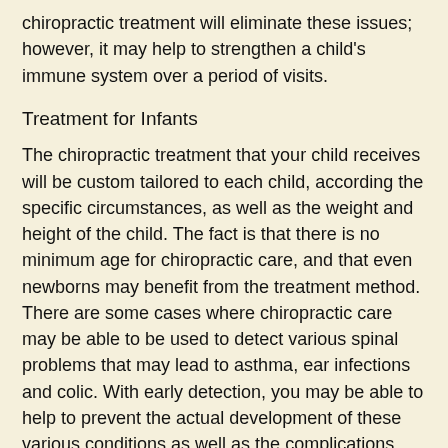chiropractic treatment will eliminate these issues; however, it may help to strengthen a child's immune system over a period of visits.
Treatment for Infants
The chiropractic treatment that your child receives will be custom tailored to each child, according the specific circumstances, as well as the weight and height of the child. The fact is that there is no minimum age for chiropractic care, and that even newborns may benefit from the treatment method. There are some cases where chiropractic care may be able to be used to detect various spinal problems that may lead to asthma, ear infections and colic. With early detection, you may be able to help to prevent the actual development of these various conditions as well as the complications that are associated with them in order to improve the quality of life, for even the youngest patients.
Treating Older Children
As children age, they may find pain associated with growing